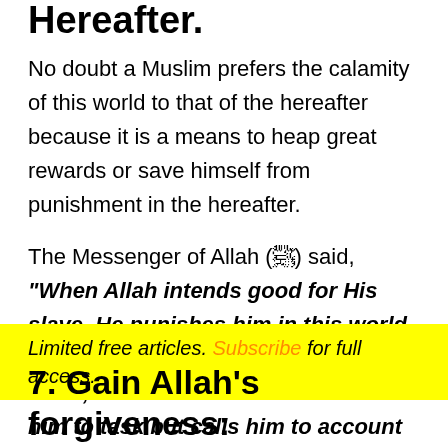Hereafter.
No doubt a Muslim prefers the calamity of this world to that of the hereafter because it is a means to heap great rewards or save himself from punishment in the hereafter.
The Messenger of Allah (ﷺ) said, “When Allah intends good for His slave, He punishes him in this world, but when He intends an evil for His slave, He does not hasten to take him to task but calls him to account on the Day of Resurrection.” [At-Tirmidhi, graded as Hasan]
Limited free articles. Subscribe for full access.
7. Gain Allah’s forgiveness: